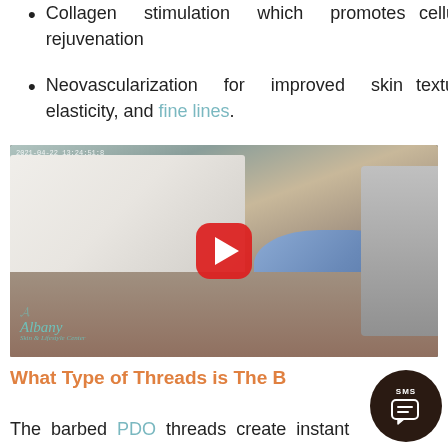Collagen stimulation which promotes cellular rejuvenation
Neovascularization for improved skin texture, elasticity, and fine lines.
[Figure (screenshot): Video thumbnail showing a medical/aesthetic procedure being performed. A practitioner wearing blue gloves works on a patient lying down covered with a white towel. Albany Skin & Lifestyle Center logo visible in lower left. YouTube-style red play button overlay in center. Timestamp visible in upper left corner.]
What Type of Threads is The B
The barbed PDO threads create instant